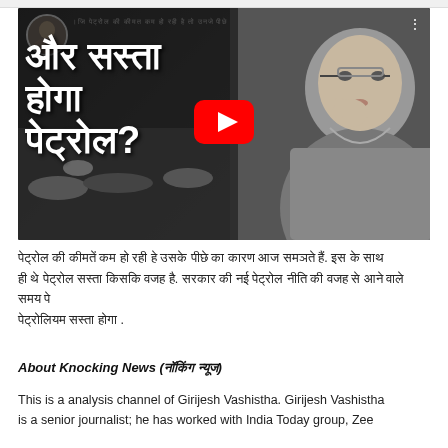[Figure (screenshot): YouTube video thumbnail showing Hindi text 'और सस्ता होगा पेट्रोल?' with a man adjusting glasses on the right side, a play button in the center, and a small avatar on the top left. Background is black and white crowd scene.]
पेट्रोल की कीमतें कम हो रही हे उसके पीछे का कारण आज समझते हैं. इस के साथ ही थे पेट्रोल सस्ता किसकि वजह है. सरकार की नई पेट्रोल नीति की वजह से आने वाले समय पेट्रोलियम सस्ता होगा .
About Knocking News (नॉकिंग न्यूज)
This is a analysis channel of Girijesh Vashistha. Girijesh Vashistha is a senior journalist; he has worked with India Today group, Zee